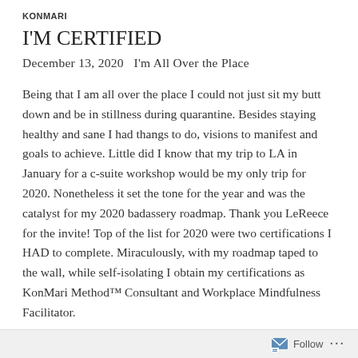KONMARI
I'M CERTIFIED
December 13, 2020   I'm All Over the Place
Being that I am all over the place I could not just sit my butt down and be in stillness during quarantine. Besides staying healthy and sane I had thangs to do, visions to manifest and goals to achieve. Little did I know that my trip to LA in January for a c-suite workshop would be my only trip for 2020. Nonetheless it set the tone for the year and was the catalyst for my 2020 badassery roadmap. Thank you LeReece for the invite! Top of the list for 2020 were two certifications I HAD to complete. Miraculously, with my roadmap taped to the wall, while self-isolating I obtain my certifications as KonMari Method™ Consultant and Workplace Mindfulness Facilitator.
During the KonMari Method™ certification process, I'm All
Follow